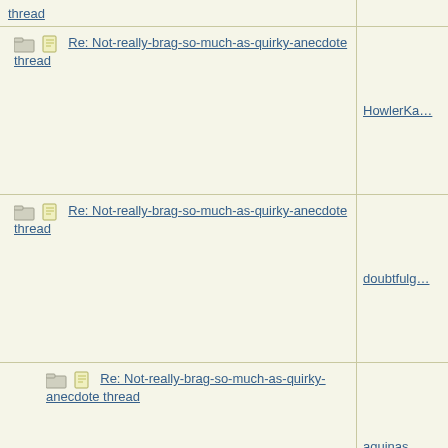| Subject | Author |
| --- | --- |
| [folder][doc] Re: Not-really-brag-so-much-as-quirky-anecdote thread | HowlerKa... |
| [folder][doc] Re: Not-really-brag-so-much-as-quirky-anecdote thread | doubtfulg... |
| [folder][doc] Re: Not-really-brag-so-much-as-quirky-anecdote thread | aquinas |
| [folder][doc] Re: Not-really-brag-so-much-as-quirky-anecdote thread | doubtfulg... |
| [folder][doc] Re: Not-really-brag-so-much-as-quirky-anecdote thread | Nautigal |
| [folder][doc] Re: Not-really-brag-so-much-as-quirky-anecdote thread | ultramarin... |
| [folder][doc] Re: Not-really-... |  |